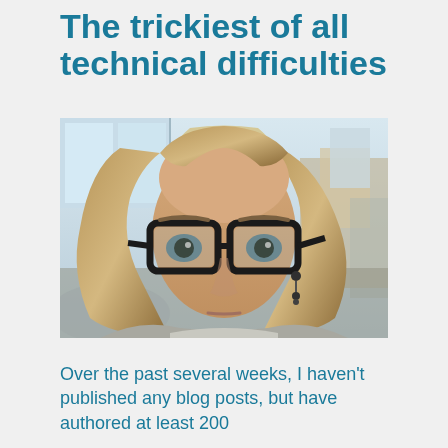The trickiest of all technical difficulties
[Figure (photo): Selfie of a woman with blonde hair, black thick-framed glasses, and dangling earrings, looking seriously at the camera. She is in an office environment with chairs and boxes visible in the background.]
Over the past several weeks, I haven't published any blog posts, but have authored at least 200 ...